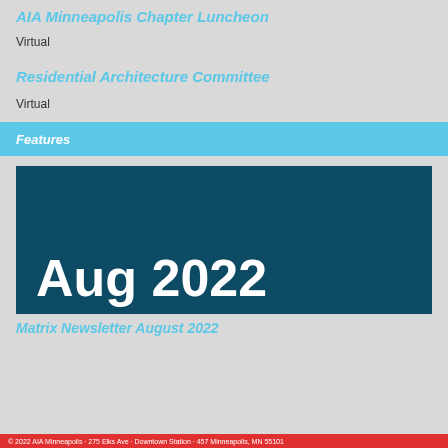AIA Minneapolis Chapter Luncheon
Virtual
Residential Architecture Committee
Virtual
Features
[Figure (other): Dark teal banner image with large white bold text reading 'Aug 2022']
Matrix Newsletter August 2022
© 2022 AIA Minneapolis · 275 Elks Ave · Downtown Station · 457 Minneapolis, MN 55101